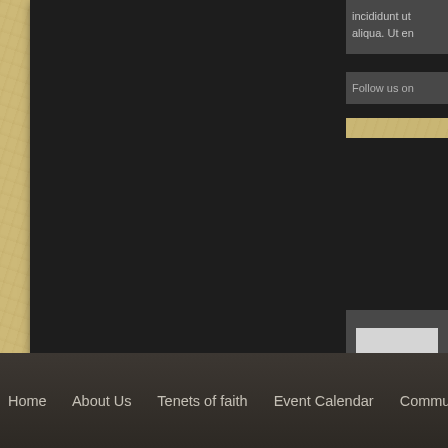[Figure (screenshot): Website screenshot showing a church/community organization webpage. Left side has a large dark/black image placeholder. Right sidebar (partially visible) shows text content starting with 'incididunt ut' and 'aliqua. Ut en', a 'Follow us on' section, and a widget with an input field and 'Read more...' button. Bottom has a dark footer navigation bar.]
incididunt ut aliqua. Ut en
Follow us on
Read more...
Home   About Us   Tenets of faith   Event Calendar   Community Foundation   Baptist